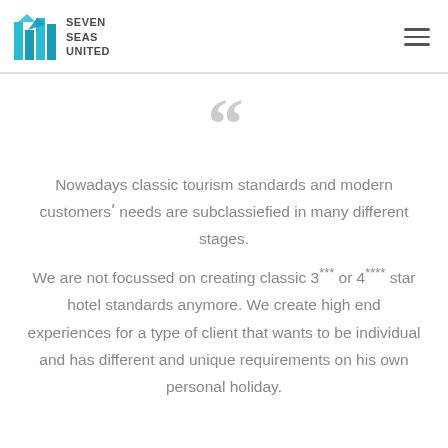[Figure (logo): Seven Seas United logo with teal/blue angular building graphic and company name text]
Nowadays classic tourism standards and modern customersʹ needs are subclassiefied in many different stages.
We are not focussed on creating classic 3*** or 4**** star hotel standards anymore. We create high end experiences for a type of client that wants to be individual and has different and unique requirements on his own personal holiday.